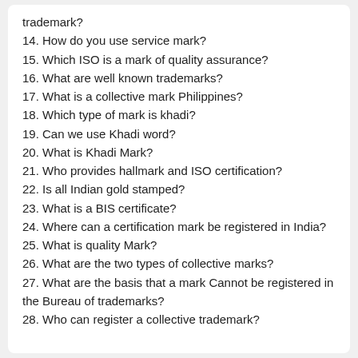trademark?
14. How do you use service mark?
15. Which ISO is a mark of quality assurance?
16. What are well known trademarks?
17. What is a collective mark Philippines?
18. Which type of mark is khadi?
19. Can we use Khadi word?
20. What is Khadi Mark?
21. Who provides hallmark and ISO certification?
22. Is all Indian gold stamped?
23. What is a BIS certificate?
24. Where can a certification mark be registered in India?
25. What is quality Mark?
26. What are the two types of collective marks?
27. What are the basis that a mark Cannot be registered in the Bureau of trademarks?
28. Who can register a collective trademark?